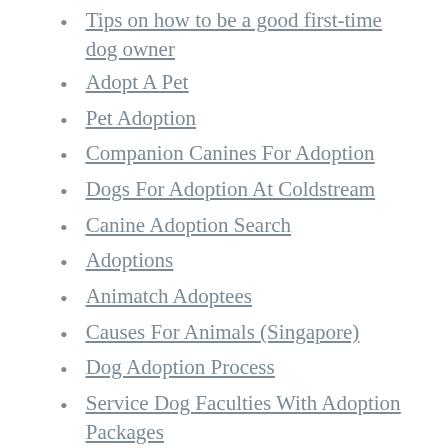Tips on how to be a good first-time dog owner
Adopt A Pet
Pet Adoption
Companion Canines For Adoption
Dogs For Adoption At Coldstream
Canine Adoption Search
Adoptions
Animatch Adoptees
Causes For Animals (Singapore)
Dog Adoption Process
Service Dog Faculties With Adoption Packages
Dog Adoption Search